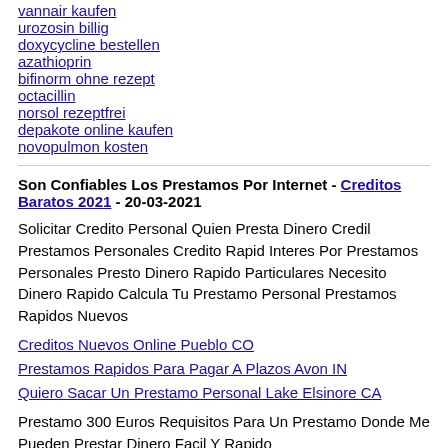vannair kaufen
urozosin billig
doxycycline bestellen
azathioprin
bifinorm ohne rezept
octacillin
norsol rezeptfrei
depakote online kaufen
novopulmon kosten
Son Confiables Los Prestamos Por Internet - Creditos Baratos 2021 - 20-03-2021
Solicitar Credito Personal Quien Presta Dinero Credil Prestamos Personales Credito Rapid Interes Por Prestamos Personales Presto Dinero Rapido Particulares Necesito Dinero Rapido Calcula Tu Prestamo Personal Prestamos Rapidos Nuevos
Creditos Nuevos Online Pueblo CO
Prestamos Rapidos Para Pagar A Plazos Avon IN
Quiero Sacar Un Prestamo Personal Lake Elsinore CA
Prestamo 300 Euros Requisitos Para Un Prestamo Donde Me Pueden Prestar Dinero Facil Y Rapido
Ethical Put Unded - Janieven - 20-03-2021
ivermectin 400 mg order cialis online without prescription cialis